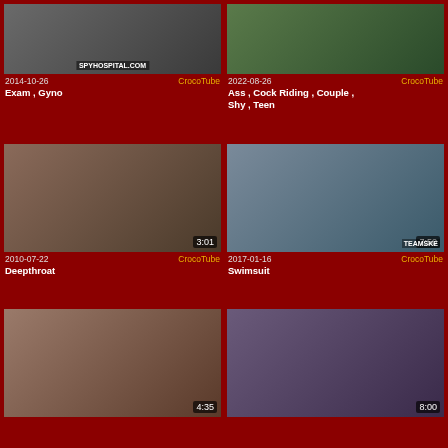[Figure (screenshot): Video thumbnail grid - adult content website CrocoTube showing 6 video thumbnails with dates, sources, and tags]
2014-10-26 CrocoTube
Exam , Gyno
2022-08-26 CrocoTube
Ass , Cock Riding , Couple , Shy , Teen
2010-07-22 CrocoTube
Deepthroat
2017-01-16 CrocoTube
Swimsuit